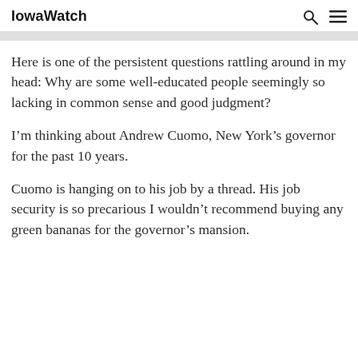IowaWatch
Here is one of the persistent questions rattling around in my head: Why are some well-educated people seemingly so lacking in common sense and good judgment?
I’m thinking about Andrew Cuomo, New York’s governor for the past 10 years.
Cuomo is hanging on to his job by a thread. His job security is so precarious I wouldn’t recommend buying any green bananas for the governor’s mansion.